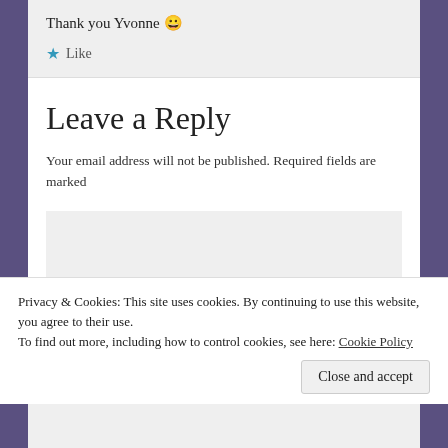Thank you Yvonne 😀
★ Like
Leave a Reply
Your email address will not be published. Required fields are marked
Privacy & Cookies: This site uses cookies. By continuing to use this website, you agree to their use.
To find out more, including how to control cookies, see here: Cookie Policy
Close and accept